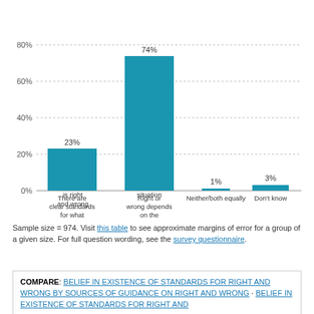[Figure (bar-chart): ]
Sample size = 974. Visit this table to see approximate margins of error for a group of a given size. For full question wording, see the survey questionnaire.
COMPARE: BELIEF IN EXISTENCE OF STANDARDS FOR RIGHT AND WRONG BY SOURCES OF GUIDANCE ON RIGHT AND WRONG · BELIEF IN EXISTENCE OF STANDARDS FOR RIGHT AND